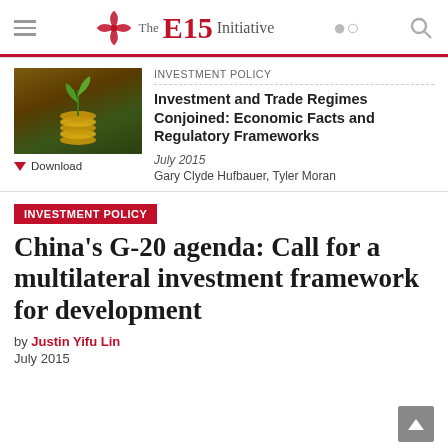The E15 Initiative
INVESTMENT POLICY
Investment and Trade Regimes Conjoined: Economic Facts and Regulatory Frameworks
July 2015
Gary Clyde Hufbauer, Tyler Moran
INVESTMENT POLICY
China's G-20 agenda: Call for a multilateral investment framework for development
by Justin Yifu Lin
July 2015